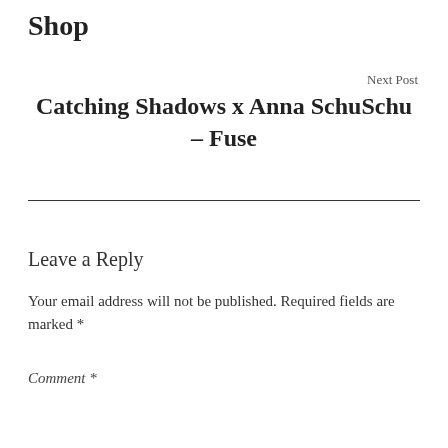Shop
Next Post
Catching Shadows x Anna SchuSchu – Fuse
Leave a Reply
Your email address will not be published. Required fields are marked *
Comment *